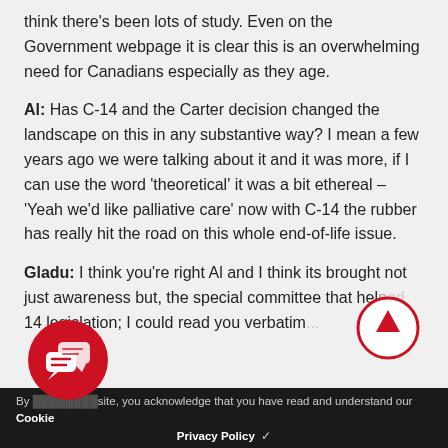think there's been lots of study. Even on the Government webpage it is clear this is an overwhelming need for Canadians especially as they age.
Al: Has C-14 and the Carter decision changed the landscape on this in any substantive way? I mean a few years ago we were talking about it and it was more, if I can use the word 'theoretical' it was a bit ethereal – 'Yeah we'd like palliative care' now with C-14 the rubber has really hit the road on this whole end-of-life issue.
Gladu: I think you're right Al and I think its brought not just awareness but, the special committee that help[ed draft the] C-14 legislation; I could read you verbatim...
By [using this] site, you acknowledge that you have read and understand our Cookie [Policy and] Privacy Policy ✓